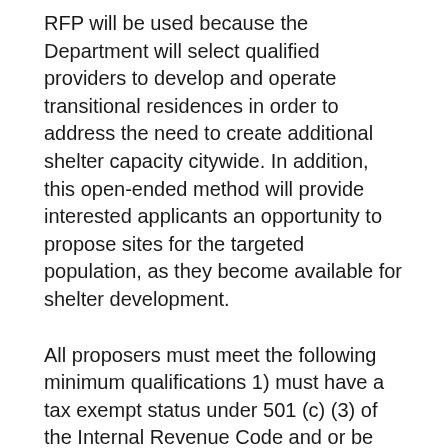RFP will be used because the Department will select qualified providers to develop and operate transitional residences in order to address the need to create additional shelter capacity citywide. In addition, this open-ended method will provide interested applicants an opportunity to propose sites for the targeted population, as they become available for shelter development.
All proposers must meet the following minimum qualifications 1) must have a tax exempt status under 501 (c) (3) of the Internal Revenue Code and or be legally incorporated as a for-profit entity; 2) must demonstrate that they have, or can obtain by the contract start date, site control of the proposed Standalone facility location(s); and 3) must